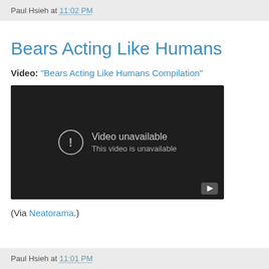Paul Hsieh at 11:02 PM
Bears Acting Like Humans
Video: "Bears Acting Like Humans Compilation"
[Figure (screenshot): Embedded YouTube video player showing 'Video unavailable / This video is unavailable' message on dark background with YouTube logo button in bottom right.]
(Via Neatorama.)
Paul Hsieh at 11:01 PM